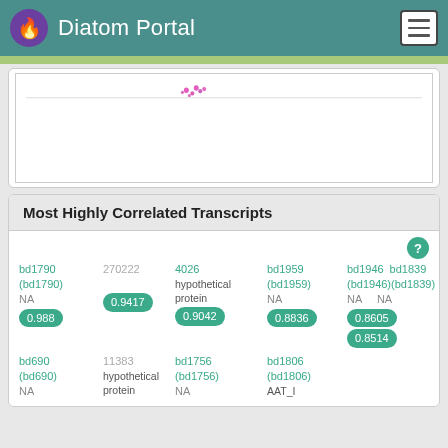Diatom Portal
[Figure (continuous-plot): Partial genome/transcript visualization chart with axis labels -500, -400, -300 and colored markers near center]
Most Highly Correlated Transcripts
|  |  |  |  |  |
| --- | --- | --- | --- | --- |
| bd1790 (bd1790)
NA
0.988 | 270222
0.9417 | 4026 hypothetical protein
0.9042 | bd1959 (bd1959)
NA
0.8836 | bd1946 (bd1946)
NA
0.8605  bd1839 (bd1839)
NA
0.8514 |
| bd690 (bd690)
NA | 11383 hypothetical protein | bd1756 (bd1756)
NA | bd1806 (bd1806)
AAT_I |  |